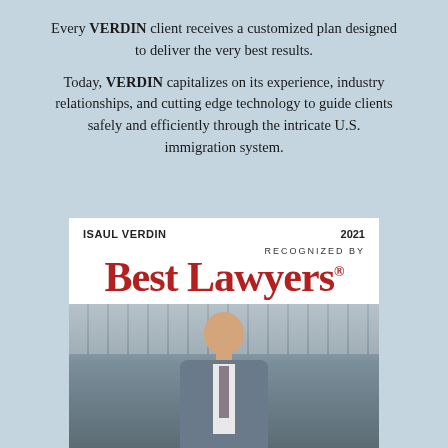Every VERDIN client receives a customized plan designed to deliver the very best results.
Today, VERDIN capitalizes on its experience, industry relationships, and cutting edge technology to guide clients safely and efficiently through the intricate U.S. immigration system.
[Figure (illustration): Best Lawyers 2021 award card featuring 'ISAUL VERDIN' and '2021' at top, 'RECOGNIZED BY' text, large red 'Best Lawyers' logo text, and a photo of a bald man in a gray suit smiling, with a building/bookshelf background.]